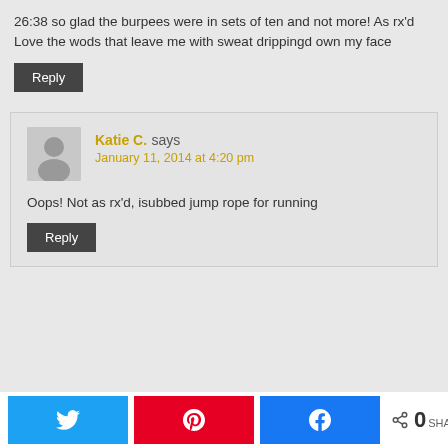26:38 so glad the burpees were in sets of ten and not more! As rx'd
Love the wods that leave me with sweat drippingd own my face
Reply
Katie C. says
January 11, 2014 at 4:20 pm
Oops! Not as rx'd, isubbed jump rope for running
Reply
0 SHARES